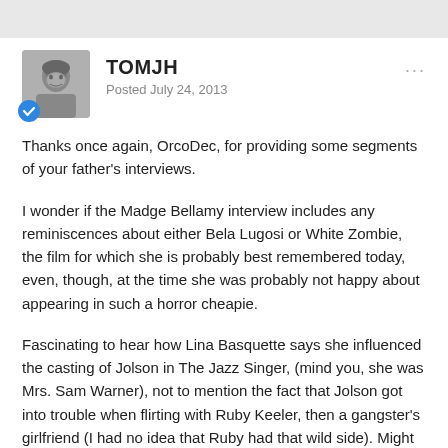TOMJH
Posted July 24, 2013
Thanks once again, OrcoDec, for providing some segments of your father's interviews.
I wonder if the Madge Bellamy interview includes any reminiscences about either Bela Lugosi or White Zombie, the film for which she is probably best remembered today, even, though, at the time she was probably not happy about appearing in such a horror cheapie.
Fascinating to hear how Lina Basquette says she influenced the casting of Jolson in The Jazz Singer, (mind you, she was Mrs. Sam Warner), not to mention the fact that Jolson got into trouble when flirting with Ruby Keeler, then a gangster's girlfriend (I had no idea that Ruby had that wild side). Might that Basquette interview also include any mention about her